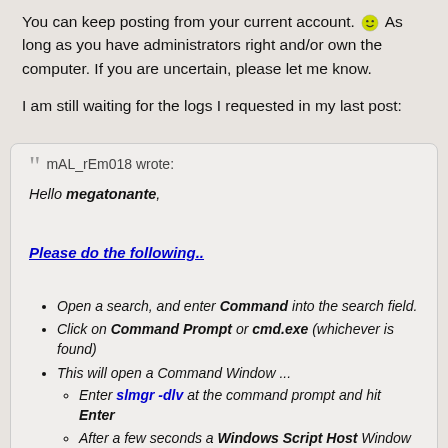You can keep posting from your current account. 🙂 As long as you have administrators right and/or own the computer. If you are uncertain, please let me know.
I am still waiting for the logs I requested in my last post:
mAL_rEm018 wrote: Hello megatonante, Please do the following.. Open a search, and enter Command into the search field. Click on Command Prompt or cmd.exe (whichever is found) This will open a Command Window ... Enter slmgr -dlv at the command prompt and hit Enter After a few seconds a Windows Script Host Window will open. Hit Ctrl + C to copy the contents of that window. Open a search, and enter Notepad into the search field. Click on Notepad or notepad.exe (whichever is found) This will open an empty Notepad file ... Hit Ctrl + V to paste the contents of Windows Script